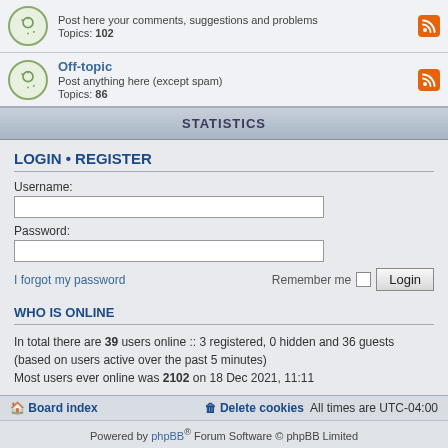Post here your comments, suggestions and problems Topics: 102
Off-topic
Post anything here (except spam)
Topics: 86
STATISTICS
LOGIN • REGISTER
Username:
Password:
I forgot my password
Remember me  Login
WHO IS ONLINE
In total there are 39 users online :: 3 registered, 0 hidden and 36 guests (based on users active over the past 5 minutes)
Most users ever online was 2102 on 18 Dec 2021, 11:11
STATISTICS
Total posts 20317 • Total topics 5494 • Total members 24136 • Our newest member fgpoxfhqcwsmley
Board index   Delete cookies   All times are UTC-04:00
Powered by phpBB® Forum Software © phpBB Limited